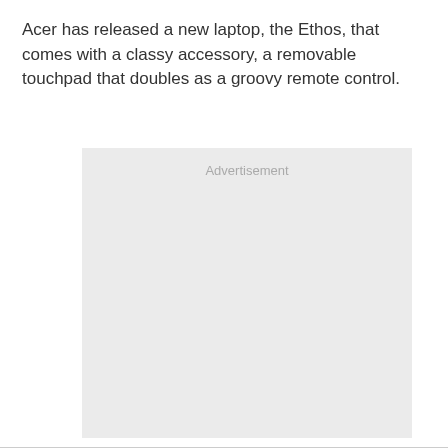Acer has released a new laptop, the Ethos, that comes with a classy accessory, a removable touchpad that doubles as a groovy remote control.
[Figure (other): Advertisement placeholder box with light gray background and 'Advertisement' label text centered near the top.]